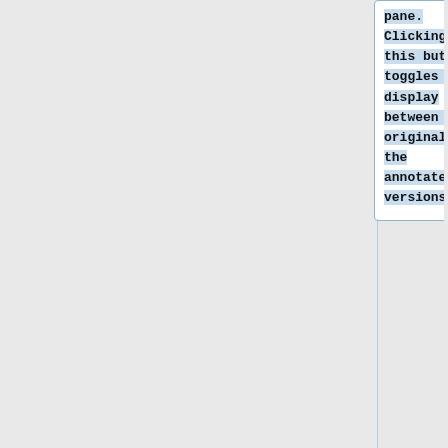pane. Clicking this button toggles the display between the original and the annotated versions.
+
When an annotated version of an image is available, pressing the <b>CTRL</b> key displays the